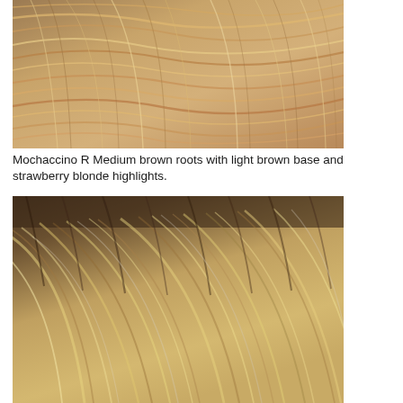[Figure (photo): Close-up photo of hair color swatch showing Mochaccino R: medium brown roots with light brown base and strawberry blonde highlights.]
Mochaccino R Medium brown roots with light brown base and strawberry blonde highlights.
[Figure (photo): Close-up photo of a second hair color swatch showing darker brown roots transitioning to blonde/light brown tones with highlights.]